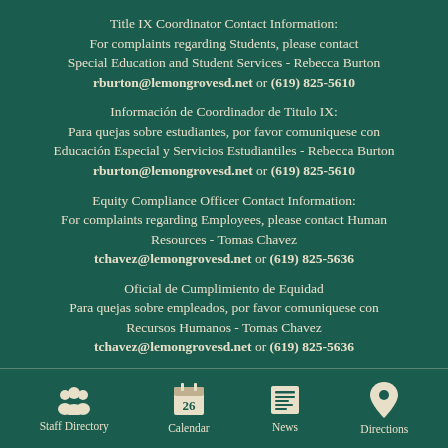Title IX Coordinator Contact Information:
For complaints regarding Students, please contact
Special Education and Student Services - Rebecca Burton
rburton@lemongrovesd.net or (619) 825-5610
Información de Coordinador de Titulo IX:
Para quejas sobre estudiantes, por favor comuniquese con
Educación Especial y Servicios Estudiantiles - Rebecca Burton
rburton@lemongrovesd.net or (619) 825-5610
Equity Compliance Officer Contact Information:
For complaints regarding Employees, please contact Human Resources - Tomas Chavez
tchavez@lemongrovesd.net or (619) 825-5636
Oficial de Cumplimiento de Equidad
Para quejas sobre empleados, por favor comuniquese con
Recursos Humanos - Tomas Chavez
tchavez@lemongrovesd.net or (619) 825-5636
The Lemon Grove School District prohibits discrimination, harassment,
[Figure (infographic): Footer navigation icons: Staff Directory (people icon), Calendar (calendar showing 26), News (newspaper icon), Directions (map pin icon)]